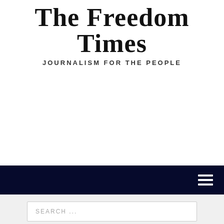The Freedom Times
JOURNALISM FOR THE PEOPLE
[Figure (other): Navigation bar with dark navy background and hamburger menu icon (three horizontal white lines) on right side]
SEARCH ...